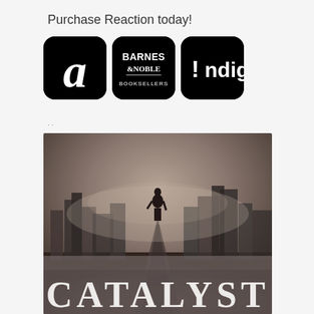Purchase Reaction today!
[Figure (logo): Amazon app icon — black rounded square with white italic lowercase 'a']
[Figure (logo): Barnes & Noble app icon — black rounded square with white bold text 'BARNES & NOBLE']
[Figure (logo): Indigo app icon — black rounded square with white text '!ndigo']
[Figure (photo): Book cover for 'CATALYST' — a dark dystopian scene showing a lone silhouetted figure standing on a road facing a ruined cityscape, with the title CATALYST in large white serif letters at the bottom]